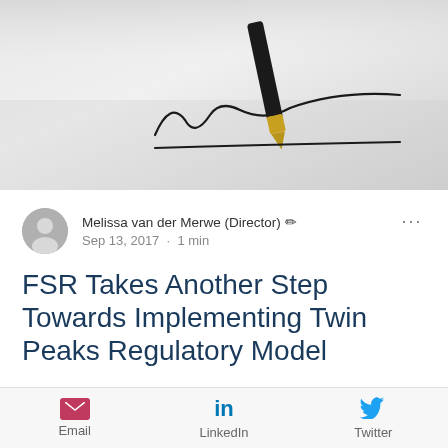[Figure (photo): Close-up photo of a fountain pen writing a signature on white paper]
Melissa van der Merwe (Director) ✏ Sep 13, 2017 · 1 min
FSR Takes Another Step Towards Implementing Twin Peaks Regulatory Model
The long awaited twin peaks enabling legislation has been passed in
Email  LinkedIn  Twitter